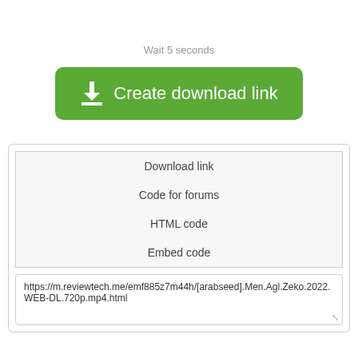Wait 5 seconds
[Figure (other): Green rounded button with download icon and text 'Create download link']
| Download link |
| Code for forums |
| HTML code |
| Embed code |
https://m.reviewtech.me/emf885z7m44h/[arabseed].Men.Agl.Zeko.2022.WEB-DL.720p.mp4.html